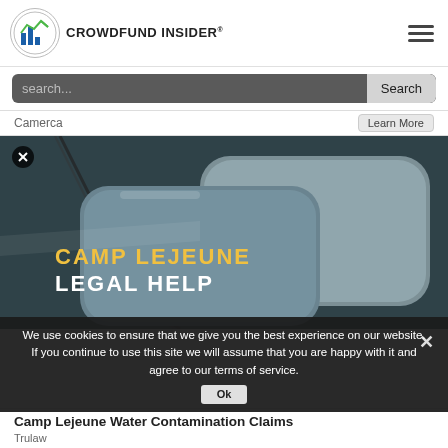[Figure (logo): Crowdfund Insider logo with bar chart icon and text]
search...
Camerca
Learn More
[Figure (photo): Military dog tags on dark background with text 'CAMP LEJEUNE LEGAL HELP' - advertisement image with close button]
We use cookies to ensure that we give you the best experience on our website. If you continue to use this site we will assume that you are happy with it and agree to our terms of service.
Camp Lejeune Water Contamination Claims
Trulaw